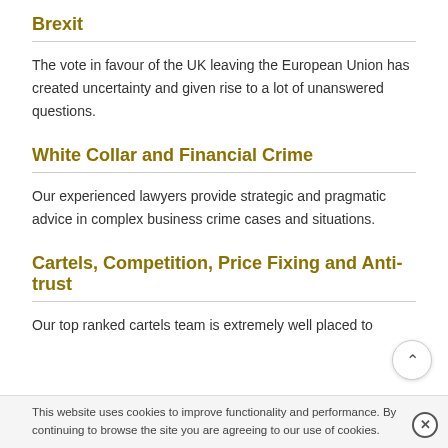Brexit
The vote in favour of the UK leaving the European Union has created uncertainty and given rise to a lot of unanswered questions.
White Collar and Financial Crime
Our experienced lawyers provide strategic and pragmatic advice in complex business crime cases and situations.
Cartels, Competition, Price Fixing and Anti-trust
Our top ranked cartels team is extremely well placed to
This website uses cookies to improve functionality and performance. By continuing to browse the site you are agreeing to our use of cookies.